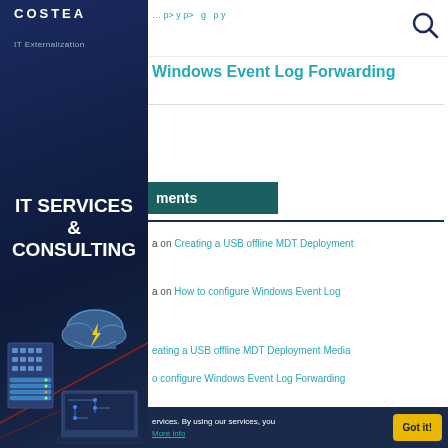COSTEA
IT Externalization
IT SERVICES & CONSULTING
[Figure (illustration): IT infrastructure illustration: server building, cloud with lightning bolt, laptop computer with circuit board design on dark blue background with red accent lines]
[Figure (other): Search icon (magnifying glass) in top right of main content area]
Windows Event Log Forwarding
ments
a on Creating a USB offline MDT Deployment
a on How to configure Windows Event Log
eating a USB offline MDT Deployment Media
o configure Windows Event Log Forwarding
ervices. By using our services, you More info
Got it!